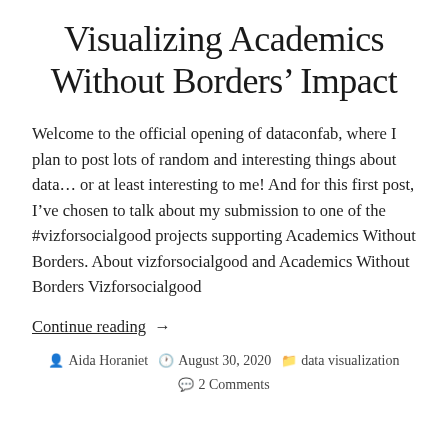Visualizing Academics Without Borders’ Impact
Welcome to the official opening of dataconfab, where I plan to post lots of random and interesting things about data… or at least interesting to me! And for this first post, I’ve chosen to talk about my submission to one of the #vizforsocialgood projects supporting Academics Without Borders. About vizforsocialgood and Academics Without Borders Vizforsocialgood
Continue reading  →
Aida Horaniet   August 30, 2020   data visualization   2 Comments